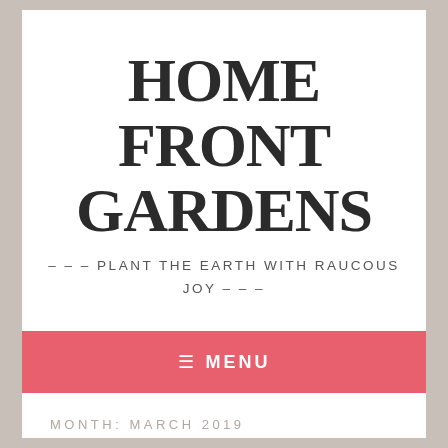HOME FRONT GARDENS
– – – PLANT THE EARTH WITH RAUCOUS JOY – – –
≡ MENU
MONTH: MARCH 2019